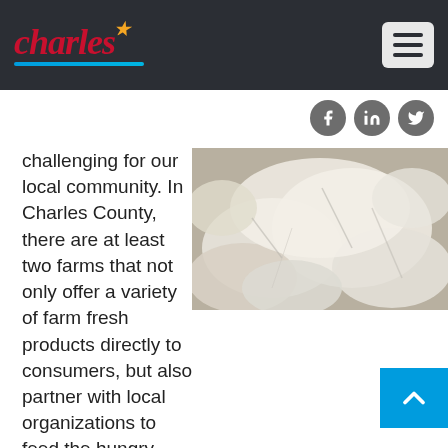Charles County — website header with logo and navigation hamburger menu
[Figure (photo): Pile of white plastic bags or packaging material]
challenging for our local community. In Charles County, there are at least two farms that not only offer a variety of farm fresh products directly to consumers, but also partner with local organizations to feed the hungry.
Located on the urban fringe of Waldorf, Shlagel Farms is a Maryland Century Farm, having been actively farming for more than one hundred years. Shlagel Farms specializes in fruit and vegetable production and sells through wholesale and retail channels. Along with their products appearing in certain grocery stores and various restaurants, Shlagel Farms sells at several farmers markets throughout the DMV and on-farm when in